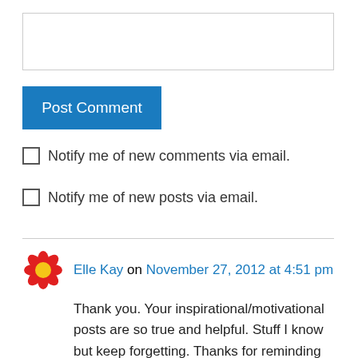[Figure (screenshot): Empty text input/comment box with border]
Post Comment
Notify me of new comments via email.
Notify me of new posts via email.
Elle Kay on November 27, 2012 at 4:51 pm
Thank you. Your inspirational/motivational posts are so true and helpful. Stuff I know but keep forgetting. Thanks for reminding me 🙂 Have a lovely day^^
Like